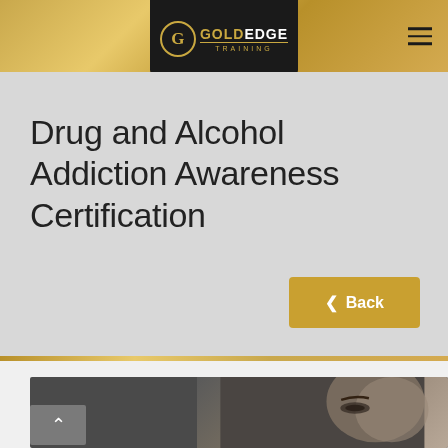[Figure (logo): Gold Edge Training logo — black rounded rectangle with gold 'G' circle icon and 'GOLD EDGE TRAINING' text in white and gold]
Drug and Alcohol Addiction Awareness Certification
[Figure (other): Back navigation button with left chevron and label 'Back' on gold/amber background]
[Figure (photo): Partial close-up photo of a man's face in dark monochrome tones, showing forehead and eyes from the right side]